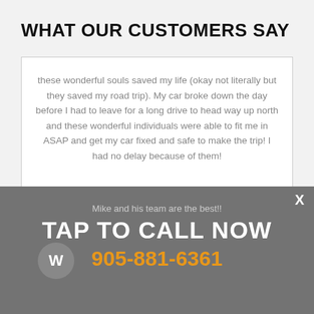WHAT OUR CUSTOMERS SAY
these wonderful souls saved my life (okay not literally but they saved my road trip). My car broke down the day before I had to leave for a long drive to head way up north and these wonderful individuals were able to fit me in ASAP and get my car fixed and safe to make the trip! I had no delay because of them!
Mike and his team are the best!!
TAP TO CALL NOW
905-881-6361